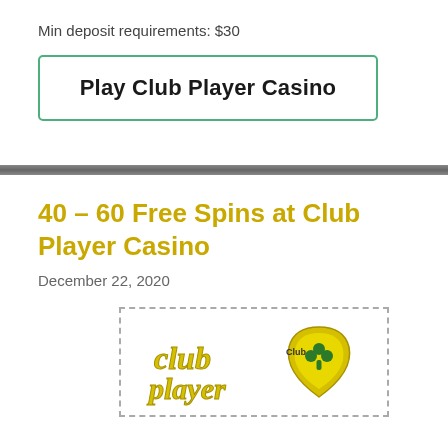Min deposit requirements: $30
Play Club Player Casino
40 – 60 Free Spins at Club Player Casino
December 22, 2020
[Figure (logo): Club Player Casino logo — yellow/green script text reading 'club player' with a shamrock emblem, on a white background inside a dashed border box]